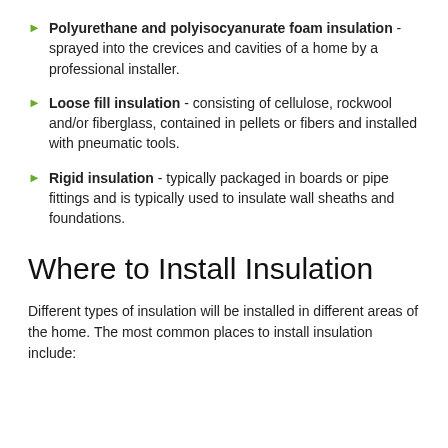Polyurethane and polyisocyanurate foam insulation - sprayed into the crevices and cavities of a home by a professional installer.
Loose fill insulation - consisting of cellulose, rockwool and/or fiberglass, contained in pellets or fibers and installed with pneumatic tools.
Rigid insulation - typically packaged in boards or pipe fittings and is typically used to insulate wall sheaths and foundations.
Where to Install Insulation
Different types of insulation will be installed in different areas of the home. The most common places to install insulation include: